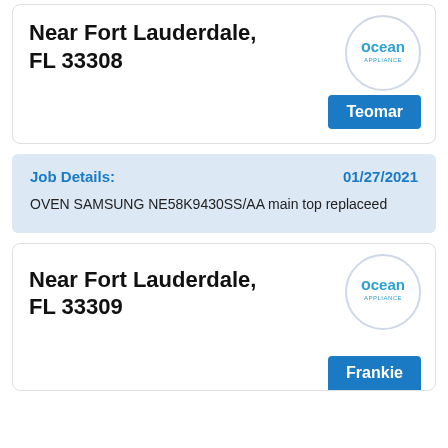Near Fort Lauderdale, FL 33308
[Figure (logo): Ocean Appliance circular logo with blue text]
Teomar
Job Details:
01/27/2021
OVEN SAMSUNG NE58K9430SS/AA main top replaceed
Near Fort Lauderdale, FL 33309
[Figure (logo): Ocean Appliance circular logo with blue text]
Frankie